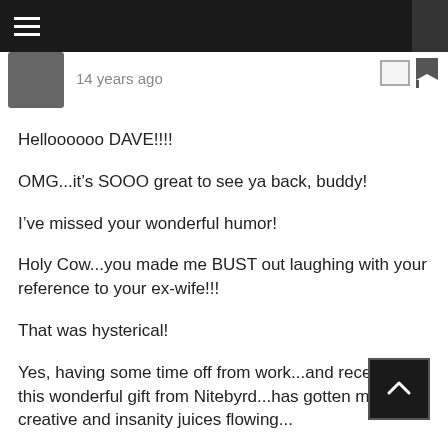14 years ago
Helloooooo DAVE!!!!
OMG...it's SOOO great to see ya back, buddy!
I've missed your wonderful humor!
Holy Cow...you made me BUST out laughing with your reference to your ex-wife!!!
That was hysterical!
Yes, having some time off from work...and receiving this wonderful gift from Nitebyrd...has gotten my creative and insanity juices flowing...
But damn...it's FUN!
Thanks so much for taking the time to stop by today, Dave!